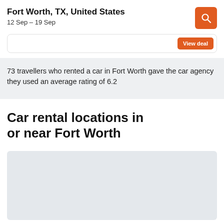Fort Worth, TX, United States
12 Sep – 19 Sep
73 travellers who rented a car in Fort Worth gave the car agency they used an average rating of 6.2
Car rental locations in or near Fort Worth
[Figure (map): Map placeholder showing car rental locations in or near Fort Worth]